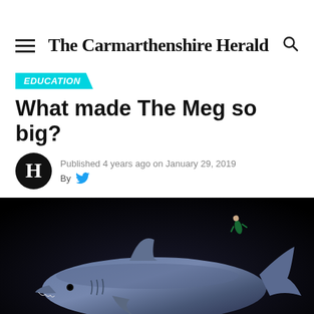The Carmarthenshire Herald
EDUCATION
What made The Meg so big?
Published 4 years ago on January 29, 2019
By
[Figure (photo): Digital illustration of a large shark (Megalodon) against a dark/black background, with a small diver figure visible near the top right for scale. The shark is rendered in blue-grey tones with detailed shading.]